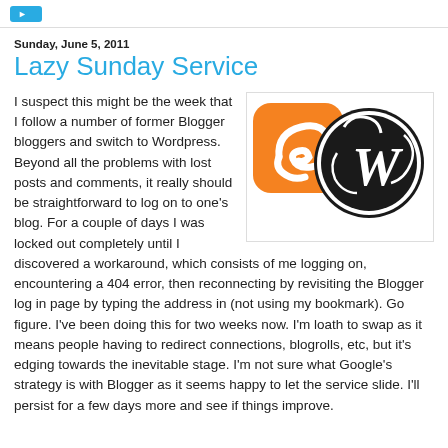[navigation button]
Sunday, June 5, 2011
Lazy Sunday Service
[Figure (logo): Blogger to WordPress migration logo: orange Blogger swirl logo merging with black WordPress W logo]
I suspect this might be the week that I follow a number of former Blogger bloggers and switch to Wordpress. Beyond all the problems with lost posts and comments, it really should be straightforward to log on to one's blog. For a couple of days I was locked out completely until I discovered a workaround, which consists of me logging on, encountering a 404 error, then reconnecting by revisiting the Blogger log in page by typing the address in (not using my bookmark). Go figure. I've been doing this for two weeks now. I'm loath to swap as it means people having to redirect connections, blogrolls, etc, but it's edging towards the inevitable stage. I'm not sure what Google's strategy is with Blogger as it seems happy to let the service slide. I'll persist for a few days more and see if things improve.